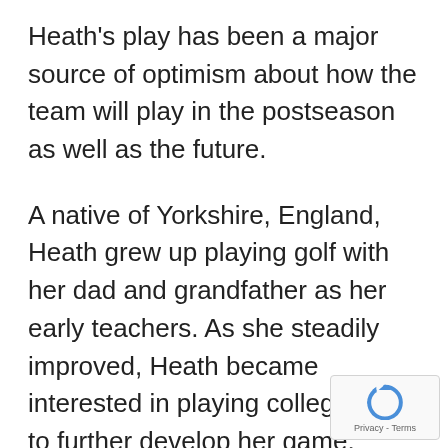Heath's play has been a major source of optimism about how the team will play in the postseason as well as the future.
A native of Yorkshire, England, Heath grew up playing golf with her dad and grandfather as her early teachers. As she steadily improved, Heath became interested in playing college golf to further develop her game. Heath was used to fighting the wind on courses back home, one of many adjustments when she moved to Florida.
[Figure (logo): reCAPTCHA badge with circular arrow logo and Privacy - Terms links]